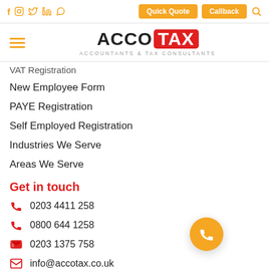Social icons: f, Instagram, Twitter, in, WhatsApp | Quick Quote | Callback | Search
[Figure (logo): AccoTax logo - ACCO in black, TAX in white on red background, subtitle: ACCOUNTANTS & TAX CONSULTANTS]
VAT Registration
New Employee Form
PAYE Registration
Self Employed Registration
Industries We Serve
Areas We Serve
Get in touch
0203 4411 258
0800 644 1258
0203 1375 758
info@accotax.co.uk